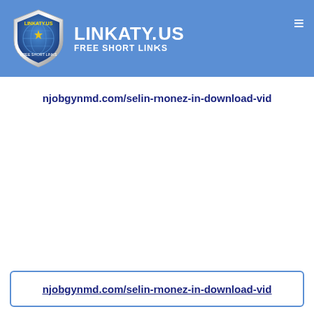LINKATY.US FREE SHORT LINKS
njobgynmd.com/selin-monez-in-download-vid
njobgynmd.com/selin-monez-in-download-vid